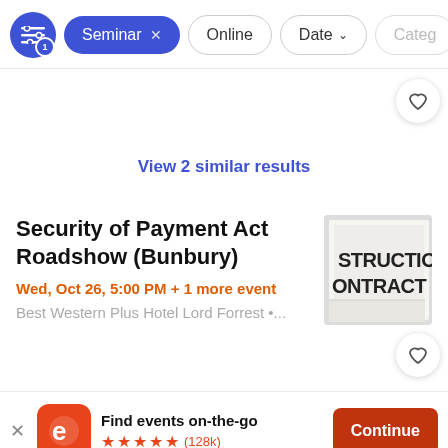[Figure (screenshot): Filter bar with filter icon (badge 1), active 'Seminar x' pill, 'Online' pill, 'Date v' pill, 'Categ...' pill]
View 2 similar results
Security of Payment Act Roadshow (Bunbury)
Wed, Oct 26, 5:00 PM + 1 more event
Best Western Plus Hotel Lord Forrest •...
[Figure (photo): Close-up photo of documents with text 'STRUCTION CONTRACT']
Find events on-the-go
★★★★★ (128k)